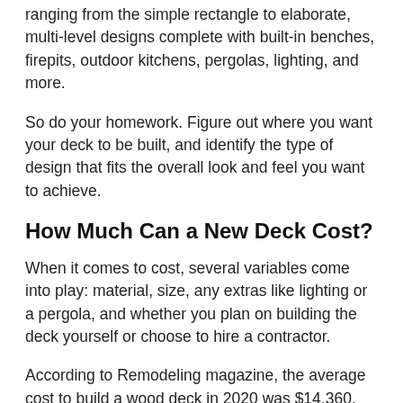ranging from the simple rectangle to elaborate, multi-level designs complete with built-in benches, firepits, outdoor kitchens, pergolas, lighting, and more.
So do your homework. Figure out where you want your deck to be built, and identify the type of design that fits the overall look and feel you want to achieve.
How Much Can a New Deck Cost?
When it comes to cost, several variables come into play: material, size, any extras like lighting or a pergola, and whether you plan on building the deck yourself or choose to hire a contractor.
According to Remodeling magazine, the average cost to build a wood deck in 2020 was $14,360. Composite decks came in at $19,856 on average.
Some big-box hardware stores and deck material manufacturers offer online tools that help you design your perfect deck and estimate costs. A local professional deck